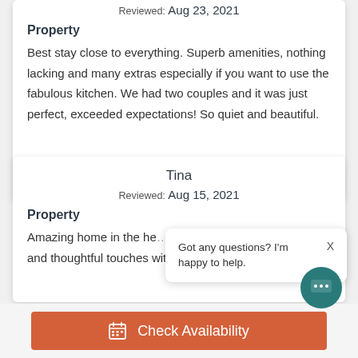Reviewed: Aug 23, 2021
Property
Best stay close to everything. Superb amenities, nothing lacking and many extras especially if you want to use the fabulous kitchen. We had two couples and it was just perfect, exceeded expectations! So quiet and beautiful.
Tina
Reviewed: Aug 15, 2021
Property
Amazing home in the he... and thoughtful touches with outdoor seating as well
Got any questions? I'm happy to help.
Check Availability